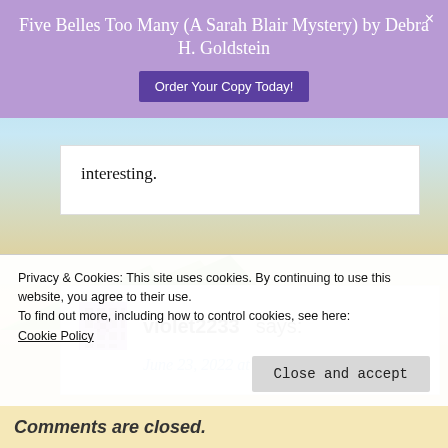Five Belles Too Many (A Sarah Blair Mystery) by Debra H. Goldstein  Order Your Copy Today!
interesting.
violet2233 says:
June 23, 2022 at 9:10 AM
Privacy & Cookies: This site uses cookies. By continuing to use this website, you agree to their use.
To find out more, including how to control cookies, see here:
Cookie Policy
Close and accept
Comments are closed.